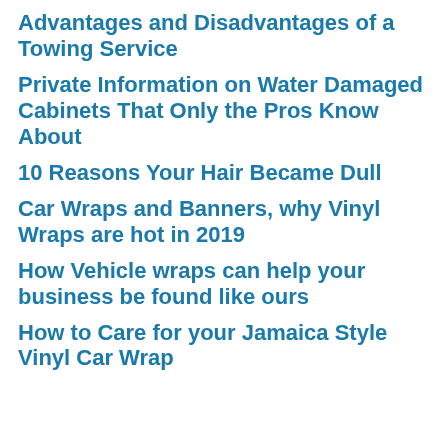Advantages and Disadvantages of a Towing Service
Private Information on Water Damaged Cabinets That Only the Pros Know About
10 Reasons Your Hair Became Dull
Car Wraps and Banners, why Vinyl Wraps are hot in 2019
How Vehicle wraps can help your business be found like ours
How to Care for your Jamaica Style Vinyl Car Wrap